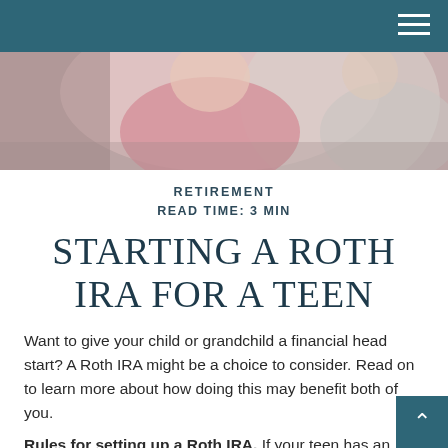RETIREMENT
READ TIME: 3 MIN
STARTING A ROTH IRA FOR A TEEN
Want to give your child or grandchild a financial head start? A Roth IRA might be a choice to consider. Read on to learn more about how doing this may benefit both of you.
Rules for setting up a Roth IRA. If your teen has an